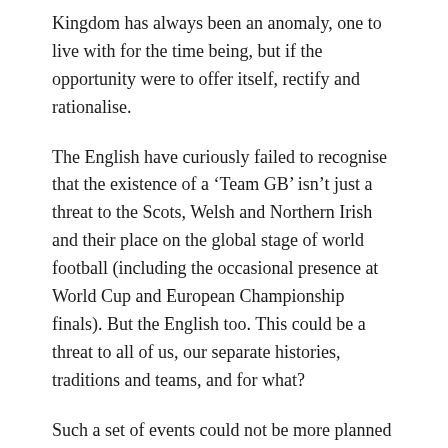Kingdom has always been an anomaly, one to live with for the time being, but if the opportunity were to offer itself, rectify and rationalise.
The English have curiously failed to recognise that the existence of a ‘Team GB’ isn’t just a threat to the Scots, Welsh and Northern Irish and their place on the global stage of world football (including the occasional presence at World Cup and European Championship finals). But the English too. This could be a threat to all of us, our separate histories, traditions and teams, and for what?
Such a set of events could not be more planned to get the dander up of the Tartan Army north of the border. I am against anti-English prejudice on the football field, terraces or anywhere, and yet the ‘Team GB’ episode invites a Scottish ‘restless natives’ response. It poses in some form an existential